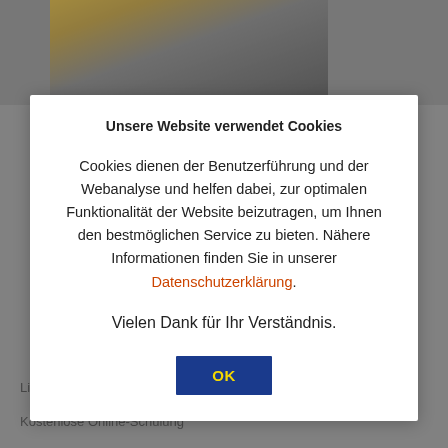[Figure (photo): Background showing a person in a suit, partially visible behind a cookie consent modal dialog. Below the modal are two text links on a gray background.]
Unsere Website verwendet Cookies
Cookies dienen der Benutzerführung und der Webanalyse und helfen dabei, zur optimalen Funktionalität der Website beizutragen, um Ihnen den bestmöglichen Service zu bieten. Nähere Informationen finden Sie in unserer Datenschutzerklärung.
Vielen Dank für Ihr Verständnis.
Linde Digital Bedienungsanleitung (PDF)
Kostenlose Online-Schulung